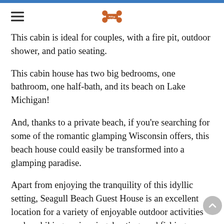This cabin is ideal for couples, with a fire pit, outdoor shower, and patio seating.
This cabin house has two big bedrooms, one bathroom, one half-bath, and its beach on Lake Michigan!
And, thanks to a private beach, if you're searching for some of the romantic glamping Wisconsin offers, this beach house could easily be transformed into a glamping paradise.
Apart from enjoying the tranquility of this idyllic setting, Seagull Beach Guest House is an excellent location for a variety of enjoyable outdoor activities such as hiking, swimming, boating, and fishing.